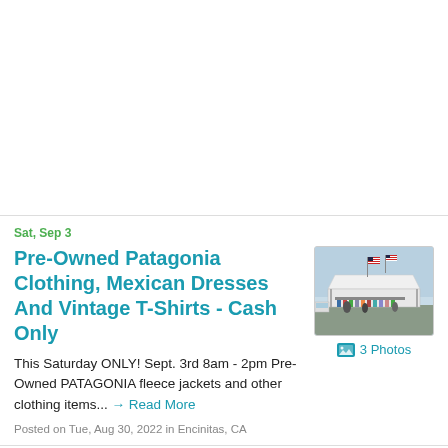Sat, Sep 3
Pre-Owned Patagonia Clothing, Mexican Dresses And Vintage T-Shirts - Cash Only
[Figure (photo): Outdoor market/swap meet scene with white tent, clothing racks, and American flags flying overhead. People browsing goods.]
3 Photos
This Saturday ONLY! Sept. 3rd 8am - 2pm Pre-Owned PATAGONIA fleece jackets and other clothing items... → Read More
Posted on Tue, Aug 30, 2022 in Encinitas, CA
Sat, Sep 3